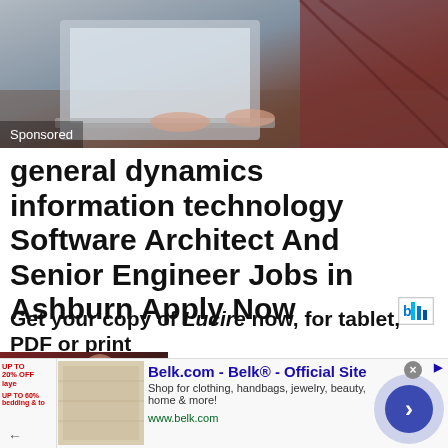[Figure (photo): Person typing on laptop at a desk, workplace setting. 'Sponsored' label in bottom-left corner.]
general dynamics information technology Software Architect And Senior Engineer Jobs in Ashburn Apply Now
Get your copy of Lucire now, for tablet, PDF or print
[Figure (photo): Lucire magazine cover image showing a woman in red dress. Lucire logo in red box. Infolinks badge at bottom.]
Make sure you don't miss out on the latest issue of Lucire. Download the Ipad or Android app now, read it as a PDF via Scopalto, or order a print edition from Ve...
[Figure (screenshot): Bottom advertisement for Belk.com - Belk Official Site. Shows clothing/bedding promotions, navigation arrow button, close button.]